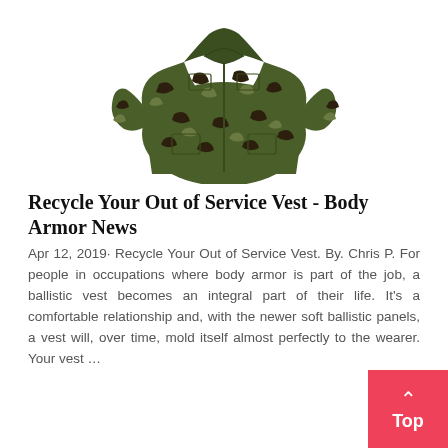[Figure (illustration): A camouflage military jacket/vest shown from the front on a white background]
Recycle Your Out of Service Vest - Body Armor News
Apr 12, 2019· Recycle Your Out of Service Vest. By. Chris P. For people in occupations where body armor is part of the job, a ballistic vest becomes an integral part of their life. It's a comfortable relationship and, with the newer soft ballistic panels, a vest will, over time, mold itself almost perfectly to the wearer. Your vest …